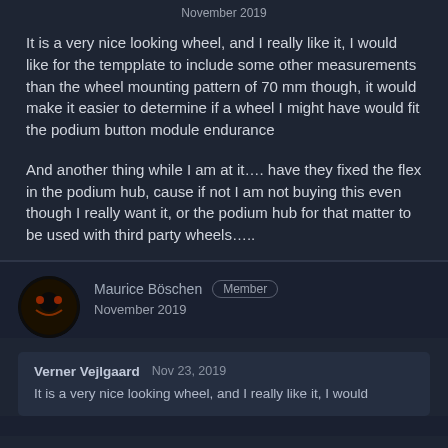November 2019
It is a very nice looking wheel, and I really like it, I would like for the tempplate to include some other measurements than the wheel mounting pattern of 70 mm though, it would make it easier to determine if a wheel I might have would fit the podium button module endurance
And another thing while I am at it…. have they fixed the flex in the podium hub, cause if not I am not buying this even though I really want it, or the podium hub for that matter to be used with third party wheels…..
Maurice Böschen  Member
November 2019
Verner Vejlgaard  Nov 23, 2019
It is a very nice looking wheel, and I really like it, I would